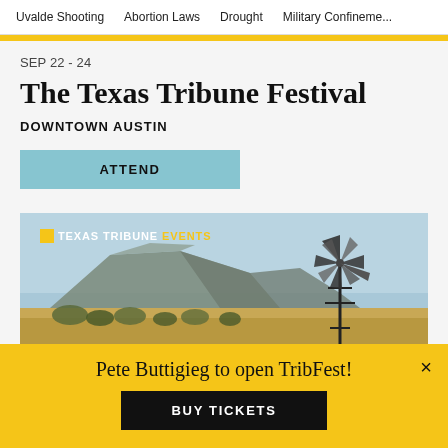Uvalde Shooting  Abortion Laws  Drought  Military Confinement
SEP 22 - 24
The Texas Tribune Festival
DOWNTOWN AUSTIN
ATTEND
[Figure (photo): Texas Tribune Events banner with scenic Texas landscape showing a mesa/butte and windmill under blue sky, with golden plains and trees in foreground. Logo overlay reads: Texas Tribune Events.]
Pete Buttigieg to open TribFest!
BUY TICKETS